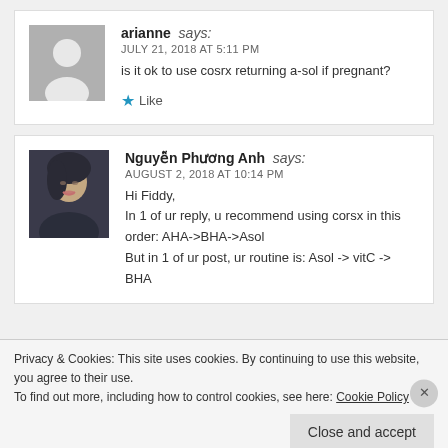arianne says: JULY 21, 2018 AT 5:11 PM — is it ok to use cosrx returning a-sol if pregnant? — Like
Nguyễn Phương Anh says: AUGUST 2, 2018 AT 10:14 PM — Hi Fiddy, In 1 of ur reply, u recommend using corsx in this order: AHA->BHA->Asol But in 1 of ur post, ur routine is: Asol -> vitC -> BHA
Privacy & Cookies: This site uses cookies. By continuing to use this website, you agree to their use. To find out more, including how to control cookies, see here: Cookie Policy — Close and accept